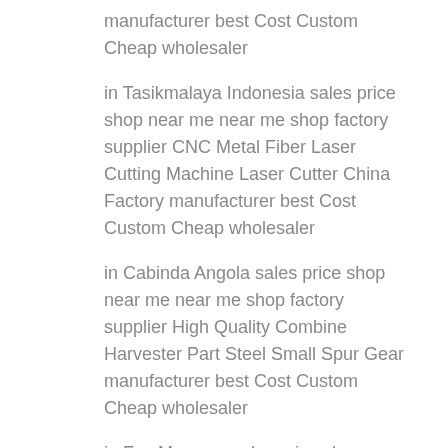manufacturer best Cost Custom Cheap wholesaler
in Tasikmalaya Indonesia sales price shop near me near me shop factory supplier CNC Metal Fiber Laser Cutting Machine Laser Cutter China Factory manufacturer best Cost Custom Cheap wholesaler
in Cabinda Angola sales price shop near me near me shop factory supplier High Quality Combine Harvester Part Steel Small Spur Gear manufacturer best Cost Custom Cheap wholesaler
in Fes Morocco sales price shop near me near me shop factory supplier High Torque Planetary Gearbox Trc Gearbox Single Phase 3 HP Motor Forward Reverse Gearbox AC Planetary Gear Box Motor for Concrete Mixer manufacturer best Cost Custom Cheap wholesaler
in Gujranwala Pakistan sales price shop near me near me shop factory supplier China Manufactured Fignearing Wear Resistance Plastic Bars and Rods